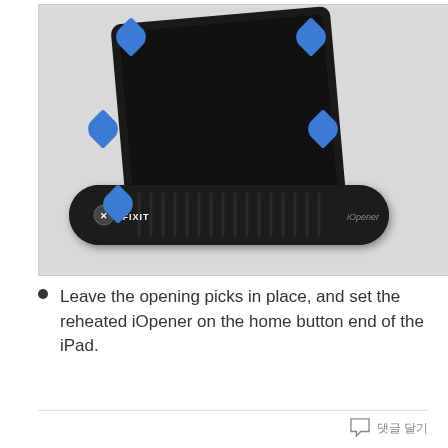[Figure (photo): Photo of an iPad with blue opening picks inserted around the edges, and an iOpener heating bag (branded iFixit) placed along the bottom home button end of the iPad.]
Leave the opening picks in place, and set the reheated iOpener on the home button end of the iPad.
댓글 달기